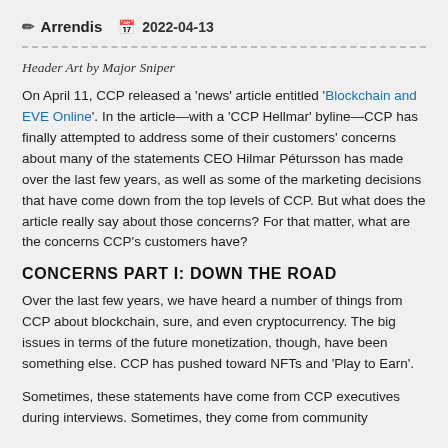✏ Arrendis   📅 2022-04-13
Header Art by Major Sniper
On April 11, CCP released a 'news' article entitled 'Blockchain and EVE Online'. In the article—with a 'CCP Hellmar' byline—CCP has finally attempted to address some of their customers' concerns about many of the statements CEO Hilmar Pétursson has made over the last few years, as well as some of the marketing decisions that have come down from the top levels of CCP. But what does the article really say about those concerns? For that matter, what are the concerns CCP's customers have?
CONCERNS PART I: DOWN THE ROAD
Over the last few years, we have heard a number of things from CCP about blockchain, sure, and even cryptocurrency. The big issues in terms of the future monetization, though, have been something else. CCP has pushed toward NFTs and 'Play to Earn'.
Sometimes, these statements have come from CCP executives during interviews. Sometimes, they come from community